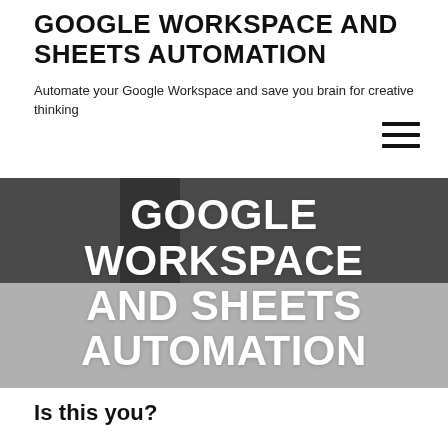GOOGLE WORKSPACE AND SHEETS AUTOMATION
Automate your Google Workspace and save you brain for creative thinking
[Figure (photo): Hero banner image with dark upper portion showing a blurred interior space and lighter gray lower portion, overlaid with bold white text reading GOOGLE WORKSPACE AND SHEETS AUTOMATION]
Is this you?